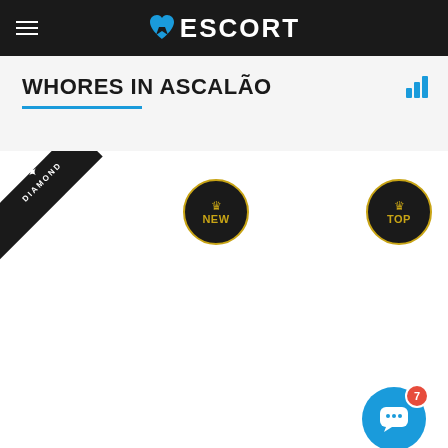ESCORT
WHORES IN ASCALÃO
[Figure (logo): DIAMOND badge ribbon in top left corner of listing]
[Figure (logo): NEW badge circle with crown in gold/dark style]
[Figure (logo): TOP badge circle with crown in gold/dark style]
[Figure (infographic): Blue chat bot button with smiley face and red notification badge showing 7]